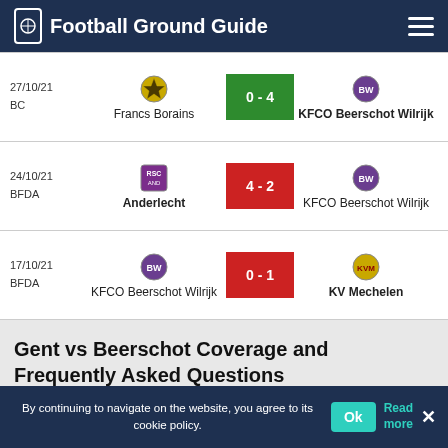Football Ground Guide
| Date/Comp | Home | Score | Away |
| --- | --- | --- | --- |
| 27/10/21 BC | Francs Borains | 0 - 4 | KFCO Beerschot Wilrijk |
| 24/10/21 BFDA | Anderlecht | 4 - 2 | KFCO Beerschot Wilrijk |
| 17/10/21 BFDA | KFCO Beerschot Wilrijk | 0 - 1 | KV Mechelen |
Gent vs Beerschot Coverage and Frequently Asked Questions
By continuing to navigate on the website, you agree to its cookie policy.